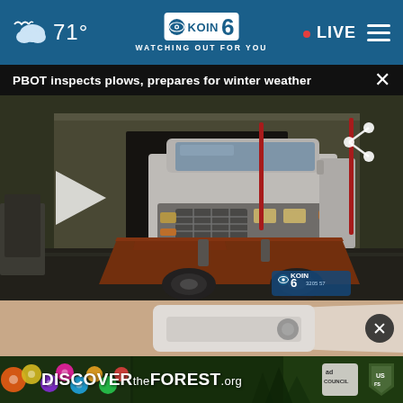71° KOIN 6 CBS WATCHING OUT FOR YOU • LIVE
PBOT inspects plows, prepares for winter weather ×
[Figure (screenshot): Video still of a white snow plow truck with a red/brown plow blade, parked in a lot. A play button overlay is shown on the left. A share icon is in the upper right. A KOIN 6 watermark with time code 3205 57 is in the lower right.]
[Figure (photo): Partial view of a hand holding a small white device, with a dark close button circle overlay.]
[Figure (infographic): Advertisement banner: DISCOVER the FOREST .org with colorful flower imagery on left, Ad Council logo and US Forest Service shield badge on right.]